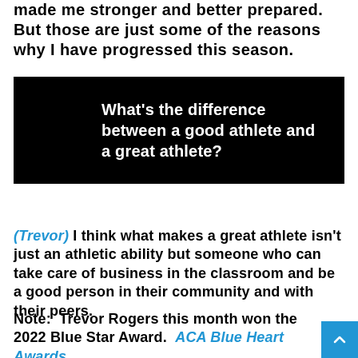made me stronger and better prepared. But those are just some of the reasons why I have progressed this season.
[Figure (other): Black box with white bold text: What's the difference between a good athlete and a great athlete?]
(Trevor) I think what makes a great athlete isn't just an athletic ability but someone who can take care of business in the classroom and be a good person in their community and with their peers.
Note:  Trevor Rogers this month won the 2022 Blue Star Award.  ACA Blue Heart Awards